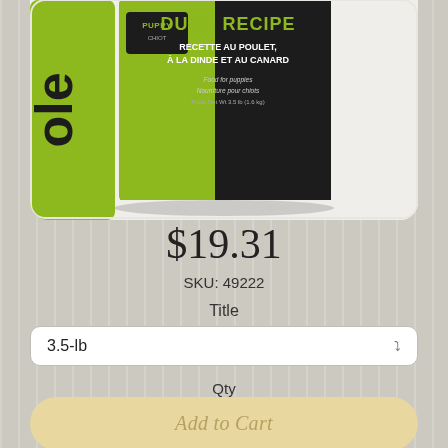[Figure (photo): Dog food package - black and lime green bag labeled PUPPY CHIOT, DUCK RECIPE, RECETTE AU POULET, À LA DINDE ET AU CANARD, Food for puppies, Nourriture pour chiots, Poids Net Wt 3.5 lb (1.6 kg)]
$19.31
SKU: 49222
Title
3.5-lb
Qty
1
Add to Cart